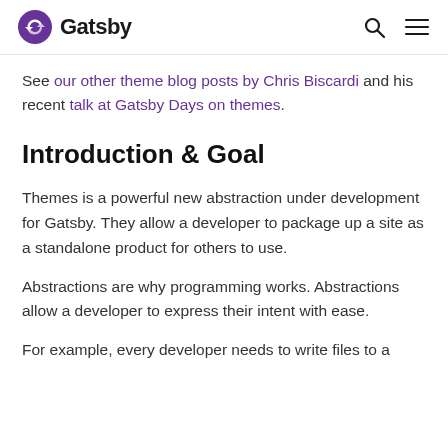Gatsby
See our other theme blog posts by Chris Biscardi and his recent talk at Gatsby Days on themes.
Introduction & Goal
Themes is a powerful new abstraction under development for Gatsby. They allow a developer to package up a site as a standalone product for others to use.
Abstractions are why programming works. Abstractions allow a developer to express their intent with ease.
For example, every developer needs to write files to a